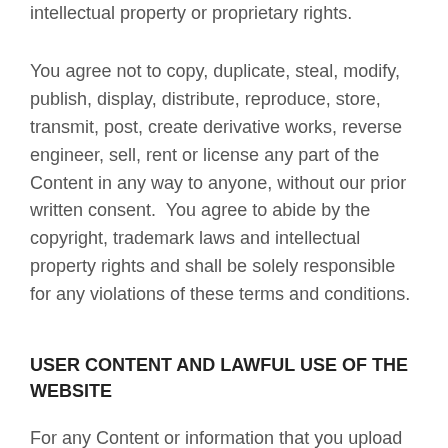intellectual property or proprietary rights.
You agree not to copy, duplicate, steal, modify, publish, display, distribute, reproduce, store, transmit, post, create derivative works, reverse engineer, sell, rent or license any part of the Content in any way to anyone, without our prior written consent.  You agree to abide by the copyright, trademark laws and intellectual property rights and shall be solely responsible for any violations of these terms and conditions.
USER CONTENT AND LAWFUL USE OF THE WEBSITE
For any Content or information that you upload